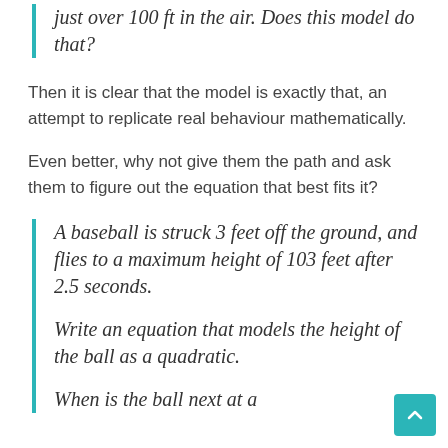just over 100 ft in the air. Does this model do that?
Then it is clear that the model is exactly that, an attempt to replicate real behaviour mathematically.
Even better, why not give them the path and ask them to figure out the equation that best fits it?
A baseball is struck 3 feet off the ground, and flies to a maximum height of 103 feet after 2.5 seconds.
Write an equation that models the height of the ball as a quadratic.
When is the ball next at a